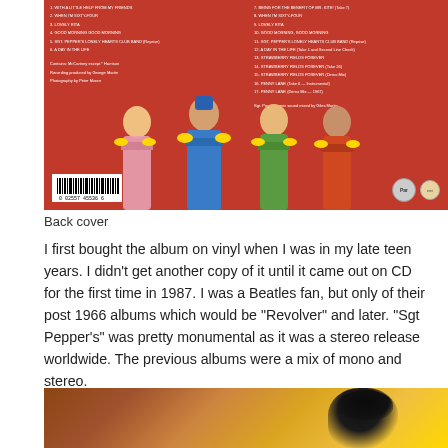[Figure (photo): Back cover of the Beatles Sgt. Pepper's Lonely Hearts Club Band album showing the four Beatles in their colorful Sgt. Pepper uniforms on a red background, with track listing text and a barcode at bottom left]
Back cover
I first bought the album on vinyl when I was in my late teen years. I didn't get another copy of it until it came out on CD for the first time in 1987. I was a Beatles fan, but only of their post 1966 albums which would be "Revolver" and later. "Sgt Pepper's" was pretty monumental as it was a stereo release worldwide. The previous albums were a mix of mono and stereo.
[Figure (photo): Partial view of another album or book cover showing a dark-haired person against a yellow/brown background]